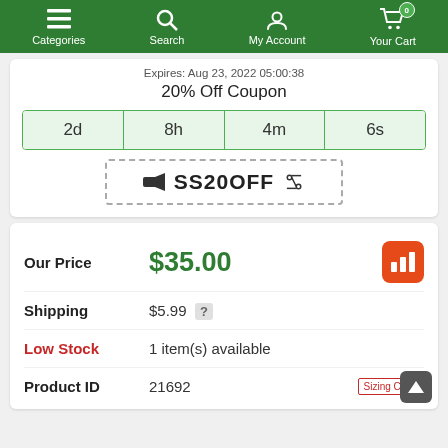Categories  Search  My Account  Your Cart 0
Expires: Aug 23, 2022 05:00:38
20% Off Coupon
2d  8h  4m  6s
SS20OFF
| Label | Value |
| --- | --- |
| Our Price | $35.00 |
| Shipping | $5.99 ? |
| Low Stock | 1 item(s) available |
| Product ID | 21692 |
Sizing Chart